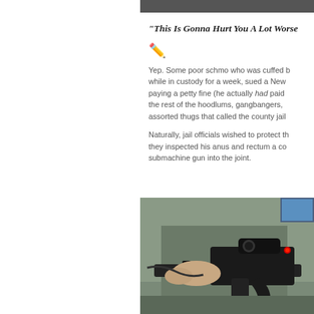“This Is Gonna Hurt You A Lot Worse…
✏️
Yep. Some poor schmo who was cuffed by while in custody for a week, sued a New paying a petty fine (he actually had paid the rest of the hoodlums, gangbangers, assorted thugs that called the county jail
Naturally, jail officials wished to protect th they inspected his anus and rectum a co submachine gun into the joint.
[Figure (photo): Photo of a submachine gun being held, partial view of a person in grey clothing holding the firearm]